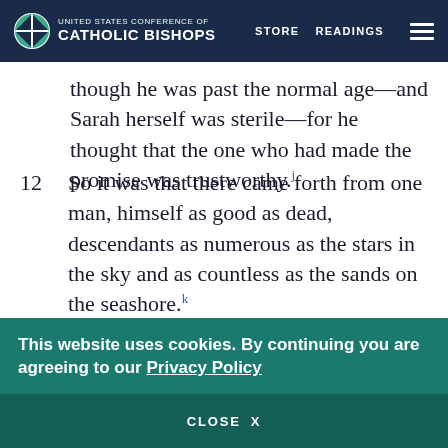UNITED STATES CONFERENCE OF CATHOLIC BISHOPS | STORE | READINGS
though he was past the normal age—and Sarah herself was sterile—for he thought that the one who had made the promise was trustworthy.j
12  So it was that there came forth from one man, himself as good as dead, descendants as numerous as the stars in the sky and as countless as the sands on the seashore.k
13  All these died in faith. They did not receive what had been promised but saw it and greeted it
This website uses cookies. By continuing you are agreeing to our Privacy Policy
CLOSE  X